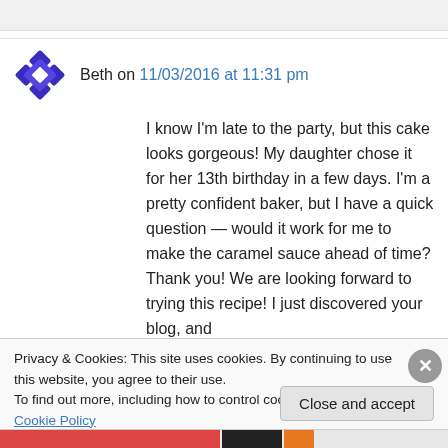Beth on 11/03/2016 at 11:31 pm
I know I'm late to the party, but this cake looks gorgeous! My daughter chose it for her 13th birthday in a few days. I'm a pretty confident baker, but I have a quick question — would it work for me to make the caramel sauce ahead of time? Thank you! We are looking forward to trying this recipe! I just discovered your blog, and
Privacy & Cookies: This site uses cookies. By continuing to use this website, you agree to their use.
To find out more, including how to control cookies, see here: Cookie Policy
Close and accept